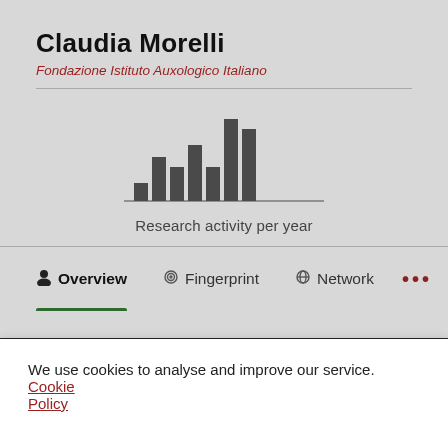Claudia Morelli
Fondazione Istituto Auxologico Italiano
[Figure (bar-chart): Research activity per year]
Research activity per year
Overview  Fingerprint  Network  ...
We use cookies to analyse and improve our service. Cookie Policy